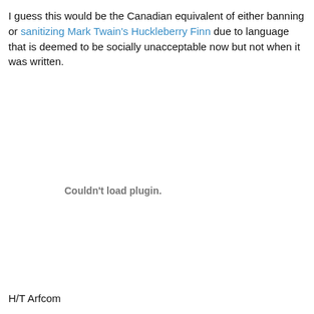I guess this would be the Canadian equivalent of either banning or sanitizing Mark Twain's Huckleberry Finn due to language that is deemed to be socially unacceptable now but not when it was written.
[Figure (other): Embedded plugin area showing 'Couldn't load plugin.' message]
H/T Arfcom